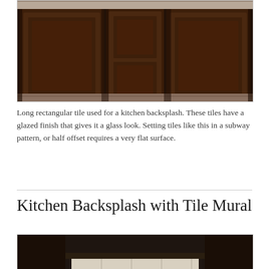[Figure (photo): View of dark wood kitchen cabinets in a corner arrangement with raised panel doors and granite countertop visible at top. Dark brown stained wood cabinets fill the frame.]
Long rectangular tile used for a kitchen backsplash. These tiles have a glazed finish that gives it a glass look. Setting tiles like this in a subway pattern, or half offset requires a very flat surface.
Kitchen Backsplash with Tile Mural
[Figure (photo): Dark kitchen interior with cabinets visible, showing a kitchen backsplash area with dim lighting.]